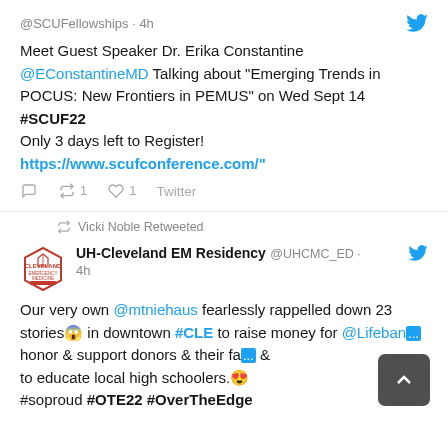@SCUFellowships · 4h
Meet Guest Speaker Dr. Erika Constantine @EConstantineMD Talking about "Emerging Trends in POCUS: New Frontiers in PEMUS" on Wed Sept 14 #SCUF22
Only 3 days left to Register!
https://www.scufconference.com/"
↺1  ♡1  Twitter
Vicki Noble Retweeted
UH-Cleveland EM Residency @UHCMC_ED · 4h
Our very own @mtniehaus fearlessly rappelled down 23 stories😱 in downtown #CLE to raise money for @Lifeban... honor & support donors & their fa... & to educate local high schoolers.😍 #soproud #OTE22 #OverTheEdge